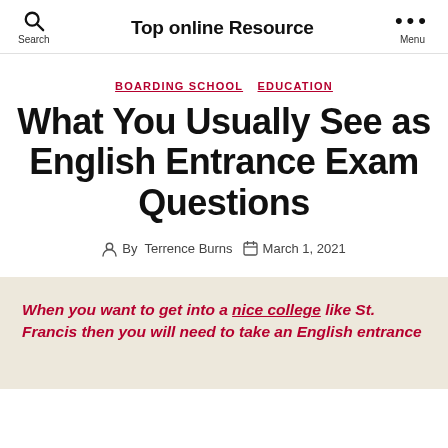Top online Resource
BOARDING SCHOOL   EDUCATION
What You Usually See as English Entrance Exam Questions
By Terrence Burns   March 1, 2021
When you want to get into a nice college like St. Francis then you will need to take an English entrance